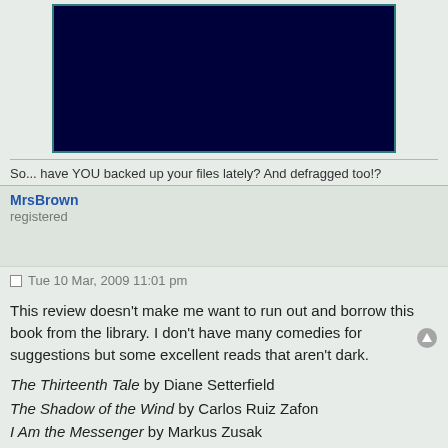[Figure (other): Dark navy blue rectangle with teal border, likely a placeholder image or screenshot]
So... have YOU backed up your files lately? And defragged too!?
MrsBrown
registered
Tue 10 Mar, 2009 11:01 pm
This review doesn't make me want to run out and borrow this book from the library. I don't have many comedies for suggestions but some excellent reads that aren't dark.
The Thirteenth Tale by Diane Setterfield
The Shadow of the Wind by Carlos Ruiz Zafon
I Am the Messenger by Markus Zusak
The Book Thief by Markus Zusak